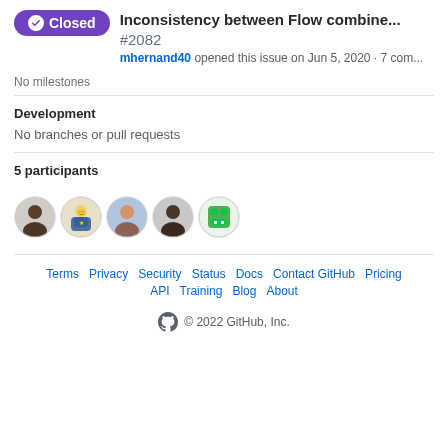Inconsistency between Flow combine... #2082 — mhernand40 opened this issue on Jun 5, 2020 · 7 com...
No milestones
Development
No branches or pull requests
5 participants
[Figure (illustration): 5 circular avatar images of GitHub users in a row]
Terms · Privacy · Security · Status · Docs · Contact GitHub · Pricing · API · Training · Blog · About · © 2022 GitHub, Inc.